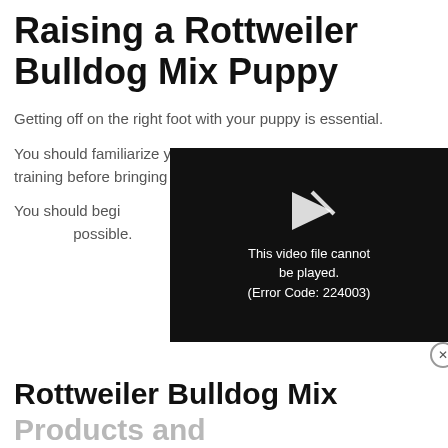Raising a Rottweiler Bulldog Mix Puppy
Getting off on the right foot with your puppy is essential.
You should familiarize yourself with puppy care and puppy training before bringing your new companion home.
[Figure (screenshot): Video player overlay showing error message: 'This video file cannot be played. (Error Code: 224003)']
You should begin [puppy] biting and inapp[ropriate behavior training as soon as] possible.
Rottweiler Bulldog Mix Products and